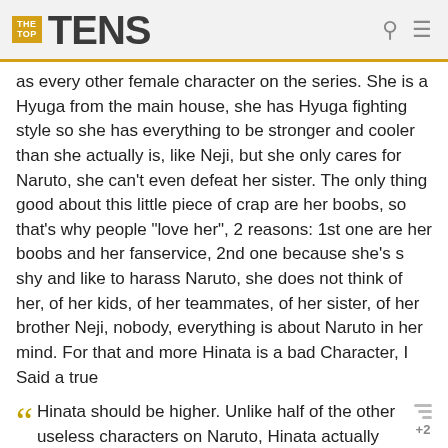THE TOP TENS
as every other female character on the series. She is a Hyuga from the main house, she has Hyuga fighting style so she has everything to be stronger and cooler than she actually is, like Neji, but she only cares for Naruto, she can't even defeat her sister. The only thing good about this little piece of crap are her boobs, so that's why people "love her", 2 reasons: 1st one are her boobs and her fanservice, 2nd one because she's s shy and like to harass Naruto, she does not think of her, of her kids, of her teammates, of her sister, of her brother Neji, nobody, everything is about Naruto in her mind. For that and more Hinata is a bad Character, I Said a true
Hinata should be higher. Unlike half of the other useless characters on Naruto, Hinata actually fought, trained to get stronger (which she accomplished) and was willing to sacrifice herself twice for Naruto (I personality don't completely think it was just because she loved Naruto, but also for making herself useful